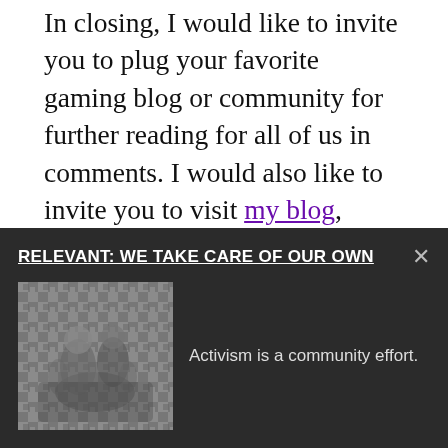In closing, I would like to invite you to plug your favorite gaming blog or community for further reading for all of us in comments. I would also like to invite you to visit my blog, which will hopefully be updated more frequently soon, and I welcome new followers on Twitter any time. I hope to see some of you around again!
And, please, by all means, game on!
Add new comment
Get Bitch Media's top 9 reads of the week delivered to your
[Figure (other): Dark overlay banner with title 'RELEVANT: WE TAKE CARE OF OUR OWN', a grayscale photo of figurines/toys, and caption text 'Activism is a community effort.']